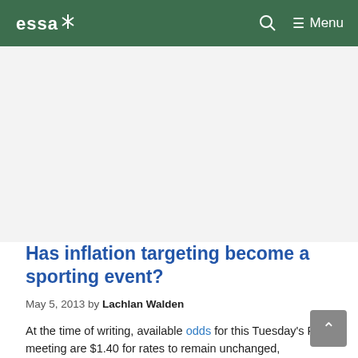essa* — Search — Menu
[Figure (other): Advertisement / blank area below navigation bar]
Has inflation targeting become a sporting event?
May 5, 2013 by Lachlan Walden
At the time of writing, available odds for this Tuesday's RBA meeting are $1.40 for rates to remain unchanged,